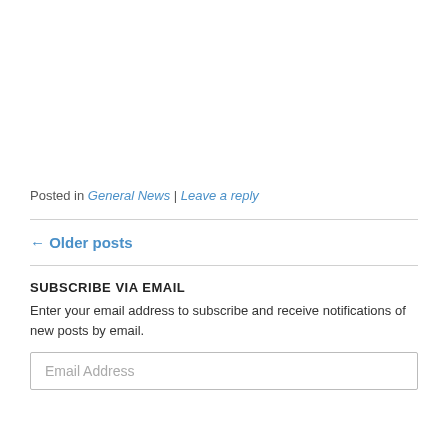Posted in General News | Leave a reply
← Older posts
SUBSCRIBE VIA EMAIL
Enter your email address to subscribe and receive notifications of new posts by email.
Email Address